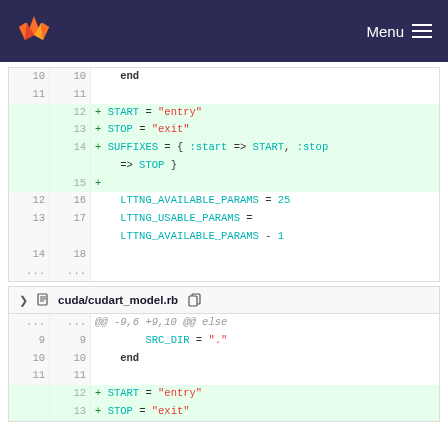GitLab — Menu
[Figure (screenshot): Code diff view showing added lines: START = 'entry', STOP = 'exit', SUFFIXES = { :start => START, :stop => STOP }, and unchanged lines LTTNG_AVAILABLE_PARAMS = 25, LTTNG_USABLE_PARAMS = LTTNG_AVAILABLE_PARAMS - 1]
[Figure (screenshot): File header: cuda/cudart_model.rb with collapse and copy icons]
[Figure (screenshot): Code diff for cuda/cudart_model.rb showing hunk @@ -9,6 +9,10 @@ else, SRC_DIR = '.', end, and added START = 'entry', STOP = 'exit']